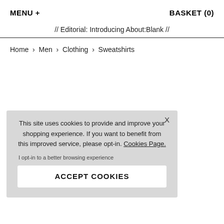MENU + | BASKET (0)
// Editorial: Introducing About:Blank //
Home > Men > Clothing > Sweatshirts
This site uses cookies to provide and improve your shopping experience. If you want to benefit from this improved service, please opt-in. Cookies Page.

I opt-in to a better browsing experience

ACCEPT COOKIES